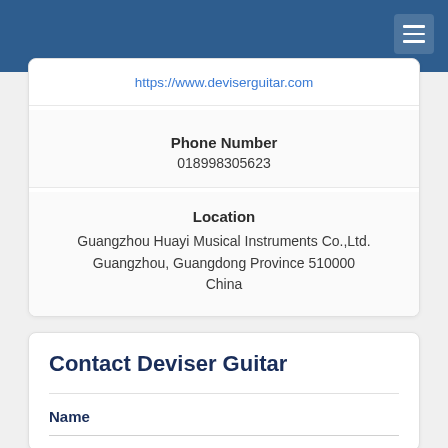https://www.deviserguitar.com
Phone Number
018998305623
Location
Guangzhou Huayi Musical Instruments Co.,Ltd.
Guangzhou, Guangdong Province 510000
China
Contact Deviser Guitar
Name